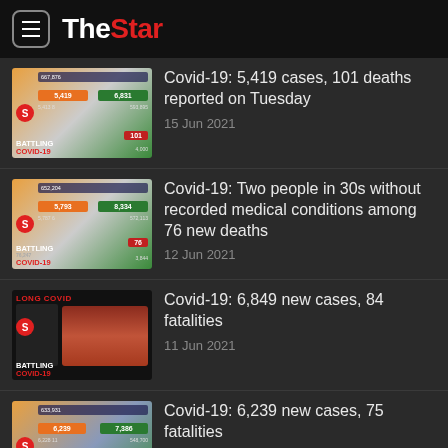The Star
[Figure (screenshot): Covid-19 statistics infographic thumbnail - BATTLING COVID-19, showing 5,419 and 6,831 stats]
Covid-19: 5,419 cases, 101 deaths reported on Tuesday
15 Jun 2021
[Figure (screenshot): Covid-19 statistics infographic thumbnail - BATTLING COVID-19, showing 5,793 and 8,334 stats, 652,204]
Covid-19: Two people in 30s without recorded medical conditions among 76 new deaths
12 Jun 2021
[Figure (screenshot): LONG COVID infographic thumbnail - BATTLING COVID-19, body diagram]
Covid-19: 6,849 new cases, 84 fatalities
11 Jun 2021
[Figure (screenshot): Covid-19 statistics infographic thumbnail with person wearing mask - BATTLING, showing 6,239 and 7,386 stats]
Covid-19: 6,239 new cases, 75 fatalities
9 Jun 2021